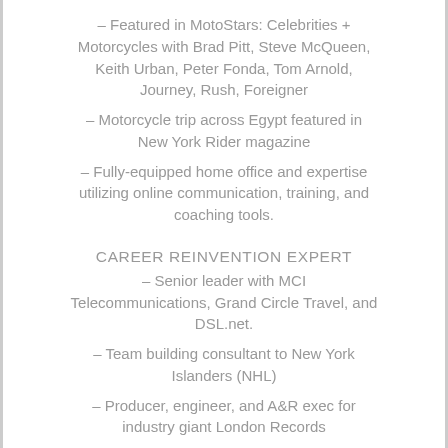- Featured in MotoStars: Celebrities + Motorcycles with Brad Pitt, Steve McQueen, Keith Urban, Peter Fonda, Tom Arnold, Journey, Rush, Foreigner
- Motorcycle trip across Egypt featured in New York Rider magazine
- Fully-equipped home office and expertise utilizing online communication, training, and coaching tools.
CAREER REINVENTION EXPERT
- Senior leader with MCI Telecommunications, Grand Circle Travel, and DSL.net.
- Team building consultant to New York Islanders (NHL)
- Producer, engineer, and A&R exec for industry giant London Records